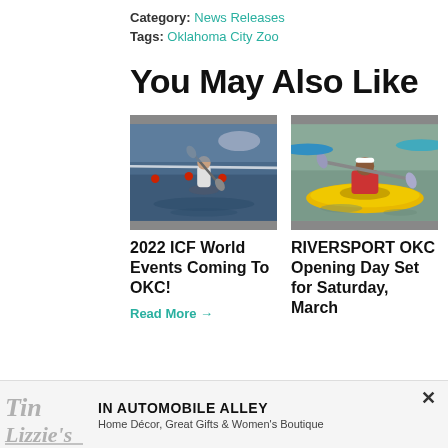Category: News Releases
Tags: Oklahoma City Zoo
You May Also Like
[Figure (photo): Person kayaking/canoeing in a water slalom competition, low angle action shot]
2022 ICF World Events Coming To OKC!
Read More →
[Figure (photo): Young girl smiling in a yellow kayak on open water, wearing a red life vest]
RIVERSPORT OKC Opening Day Set for Saturday, March
IN AUTOMOBILE ALLEY
Home Décor, Great Gifts & Women's Boutique